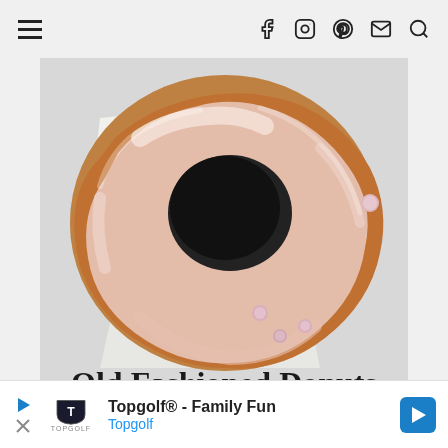Navigation bar with hamburger menu and icons: facebook, instagram, pinterest, email, search
[Figure (photo): Overhead view of an old fashioned glazed donut with pink/white icing on white parchment paper, with small pink candy balls scattered nearby, on a light gray background]
Old Fashioned Donuts
[Figure (other): Advertisement banner: Topgolf® - Family Fun, Topgolf, with Topgolf logo and navigation arrow icon]